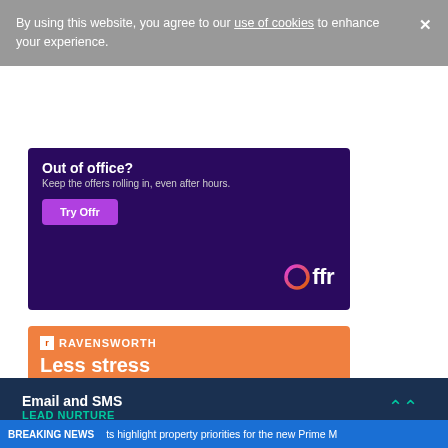By using this website, you agree to our use of cookies to enhance your experience.
[Figure (illustration): Offr advertisement banner: dark purple background, 'Out of office?' headline, 'Keep the offers rolling in, even after hours.' subtext, purple 'Try Offr' button, Offr logo bottom right]
[Figure (illustration): Ravensworth advertisement banner: orange background with man in suit and floating office items, 'RAVENSWORTH' logo, 'Less stress more stock' headline, 'Create direct mail in minutes from 57p each.', 'Book a Directmailr™ demo' button]
Email and SMS LEAD NURTURE
BREAKING NEWS ts highlight property priorities for the new Prime M